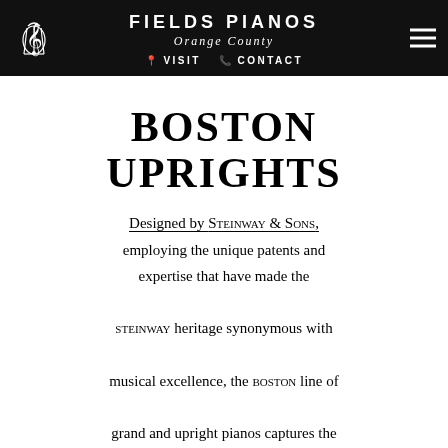FIELDS PIANOS | Orange County | VISIT | CONTACT
BOSTON UPRIGHTS
Designed by STEINWAY & SONS, employing the unique patents and expertise that have made the STEINWAY heritage synonymous with musical excellence, the BOSTON line of grand and upright pianos captures the STEINWAY DNA and represents a singular achievement in instrument-building: a superior playing experience at a price level never before thought